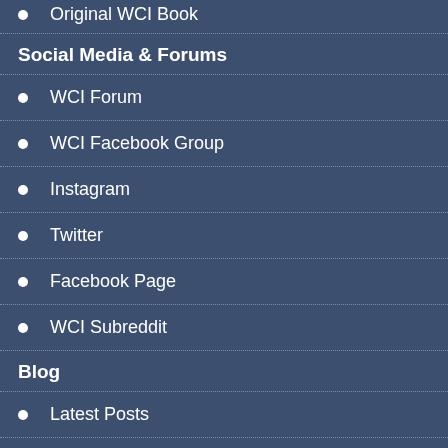Original WCI Book
Social Media & Forums
WCI Forum
WCI Facebook Group
Instagram
Twitter
Facebook Page
WCI Subreddit
Blog
Latest Posts
Classic Posts